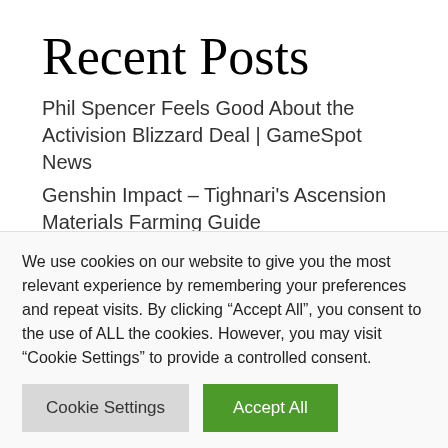Recent Posts
Phil Spencer Feels Good About the Activision Blizzard Deal | GameSpot News
Genshin Impact – Tighnari's Ascension Materials Farming Guide
Ni No Kuni: Cross Worlds' Latest Update Adds Competitive Cooking
Shazam: Fury Of The Gods Delayed To 2023, Pushes Back Aquaman And The Lost Kingdom
We use cookies on our website to give you the most relevant experience by remembering your preferences and repeat visits. By clicking "Accept All", you consent to the use of ALL the cookies. However, you may visit "Cookie Settings" to provide a controlled consent.